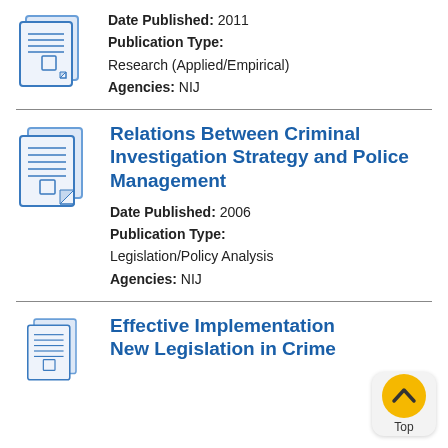Date Published: 2011
Publication Type: Research (Applied/Empirical)
Agencies: NIJ
Relations Between Criminal Investigation Strategy and Police Management
Date Published: 2006
Publication Type: Legislation/Policy Analysis
Agencies: NIJ
Effective Implementation New Legislation in Crime